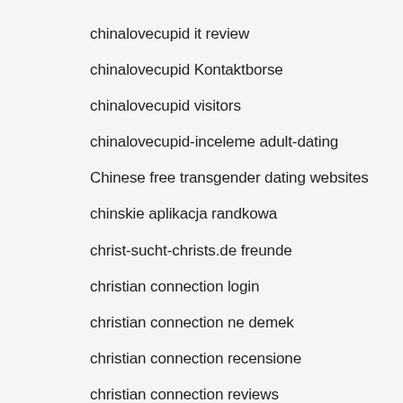chinalovecupid it review
chinalovecupid Kontaktborse
chinalovecupid visitors
chinalovecupid-inceleme adult-dating
Chinese free transgender dating websites
chinskie aplikacja randkowa
christ-sucht-christs.de freunde
christian connection login
christian connection ne demek
christian connection recensione
christian connection reviews